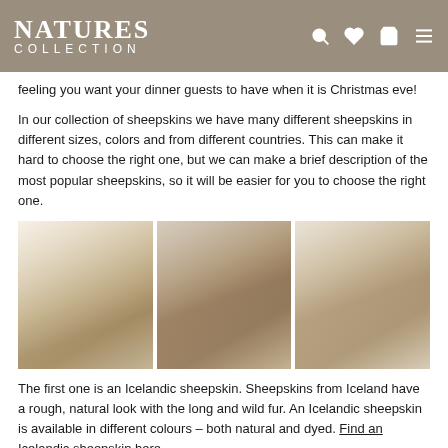NATURES COLLECTION
feeling you want your dinner guests to have when it is Christmas eve!
In our collection of sheepskins we have many different sheepskins in different sizes, colors and from different countries. This can make it hard to choose the right one, but we can make a brief description of the most popular sheepskins, so it will be easier for you to choose the right one.
[Figure (photo): Three photos showing sheepskin rugs draped over chairs at a Christmas dinner table setting]
The first one is an Icelandic sheepskin. Sheepskins from Iceland have a rough, natural look with the long and wild fur. An Icelandic sheepskin is available in different colours – both natural and dyed. Find an Icelandic sheepskin here.
The second one is a sheepskin from New Zealand, which is more natural and...